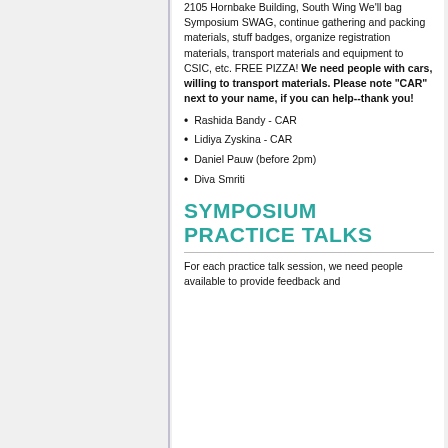2105 Hornbake Building, South Wing We'll bag Symposium SWAG, continue gathering and packing materials, stuff badges, organize registration materials, transport materials and equipment to CSIC, etc. FREE PIZZA! We need people with cars, willing to transport materials. Please note "CAR" next to your name, if you can help--thank you!
Rashida Bandy - CAR
Lidiya Zyskina - CAR
Daniel Pauw (before 2pm)
Diva Smriti
SYMPOSIUM PRACTICE TALKS
For each practice talk session, we need people available to provide feedback and